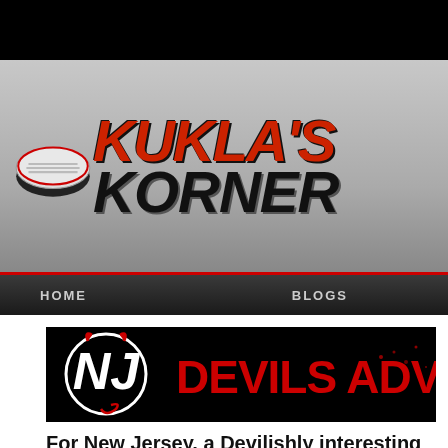[Figure (logo): Kukla's Korner hockey blog logo with puck graphic and red/black stylized text]
HOME    BLOGS
[Figure (logo): Devils Advocate banner with New Jersey Devils logo and red stylized text on black background]
For New Jersey, a Devilishly interesting season
by pcoffey on 09/19/13 at 11:48 AM ET
Comments (0)